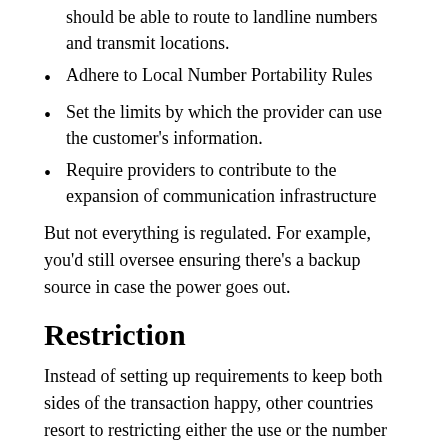should be able to route to landline numbers and transmit locations.
Adhere to Local Number Portability Rules
Set the limits by which the provider can use the customer's information.
Require providers to contribute to the expansion of communication infrastructure
But not everything is regulated. For example, you'd still oversee ensuring there's a backup source in case the power goes out.
Restriction
Instead of setting up requirements to keep both sides of the transaction happy, other countries resort to restricting either the use or the number of options.
In the Caribbean, Belize, and Brazil, you'd still be able